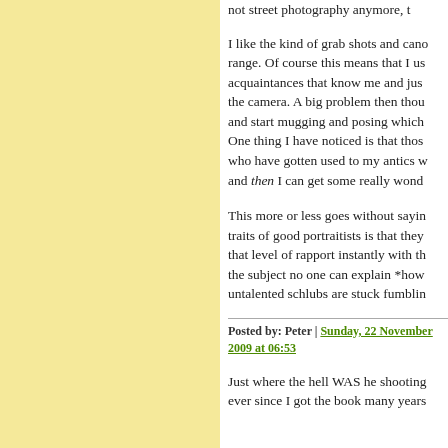not street photography anymore, t... I like the kind of grab shots and cano... range. Of course this means that I us... acquaintances that know me and jus... the camera. A big problem then thou... and start mugging and posing which... One thing I have noticed is that thos... who have gotten used to my antics w... and then I can get some really wond...
This more or less goes without sayin... traits of good portraitists is that they... that level of rapport instantly with th... the subject no one can explain *how... untalented schlubs are stuck fumblin...
Posted by: Peter | Sunday, 22 November 2009 at 06:53
Just where the hell WAS he shooting... ever since I got the book many years...